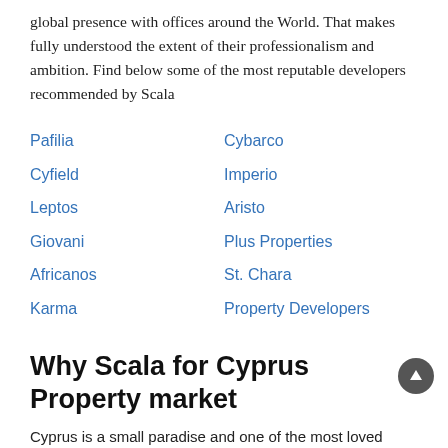global presence with offices around the World. That makes fully understood the extent of their professionalism and ambition. Find below some of the most reputable developers recommended by Scala
Pafilia
Cybarco
Cyfield
Imperio
Leptos
Aristo
Giovani
Plus Properties
Africanos
St. Chara
Karma
Property Developers
Why Scala for Cyprus Property market
Cyprus is a small paradise and one of the most loved countries for foreigners seeking property in the sun thanks to its pleasant climate. Its hot summers and mild wet winters draw visitors and settlers from far and wide and this